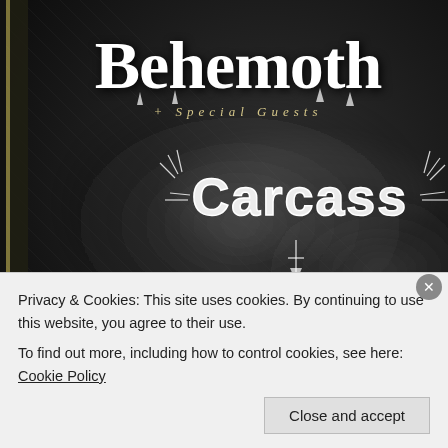[Figure (illustration): Concert tour poster with dark smoky background for Behemoth with Special Guests Carcass and Unto Others. Shows band names and European tour dates for Sep-Oct.]
+ Special Guests
CARCASS
UNTO OTHERS
SEP 28 DUBLIN /IE
SEP 30 GLASGOW /UK
OCT 01 MANCHESTER /UK
OCT 02 BIRMINGHAM /UK
OCT 03 LONDON /UK
OCT 05 PARIS /FR
OCT 06 TOULOUSE /FR
OCT 08 LISBON /PT
OCT 09 MADRID /ES
OCT 10 BARCELONA /ES
OCT 12 LYON /FR
OCT 17 KATOWICE /PL
OCT 19 BUDAPEST /HU
OCT 20 VIENNA /AT
OCT 22 LUDWIGSBURG /DE
OCT 23 DEN BOSCH /NL
OCT 24 BRUSSELS /BE
Privacy & Cookies: This site uses cookies. By continuing to use this website, you agree to their use.
To find out more, including how to control cookies, see here: Cookie Policy
Close and accept